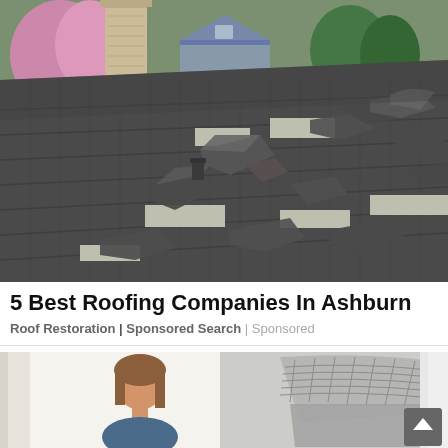[Figure (photo): Damaged asphalt shingle roof with curling and missing shingles, chimney visible on left, suburban neighborhood in background with flowering trees]
5 Best Roofing Companies In Ashburn
Roof Restoration | Sponsored Search | Sponsored
[Figure (photo): Person holding a gutter guard product, white background on left, product detail on right showing cross-section of grey ribbed gutter guard]